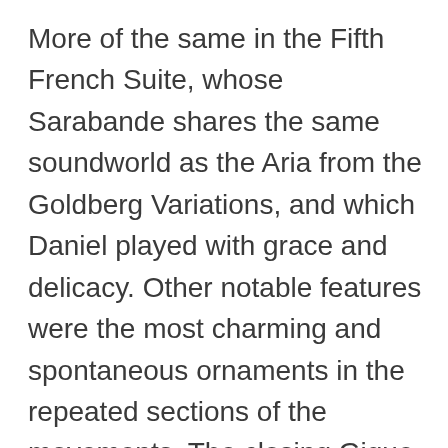More of the same in the Fifth French Suite, whose Sarabande shares the same soundworld as the Aria from the Goldberg Variations, and which Daniel played with grace and delicacy. Other notable features were the most charming and spontaneous ornaments in the repeated sections of the movements. The closing Gigue had the necessary forward propulsion, a dancing column of energy running through the entire movement.
After the interval, the Sixth Partita in sombre E minor. This, as Daniel explained, is Bach's nearest equivalent for the keyboard to the St